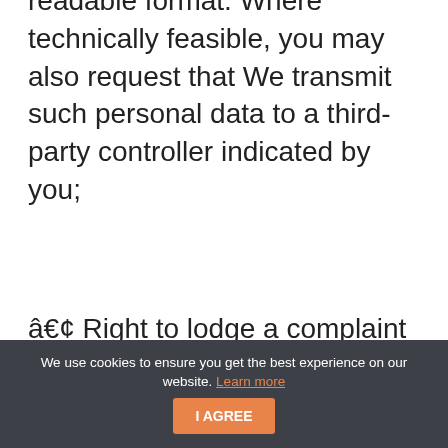readable format. Where technically feasible, you may also request that We transmit such personal data to a third-party controller indicated by you;
• Right to lodge a complaint – you have the right to lodge a complaint regarding the processing of your personal data with a supervisory authority for
We use cookies to ensure you get the best experience on our website. Learn more | I AGREE